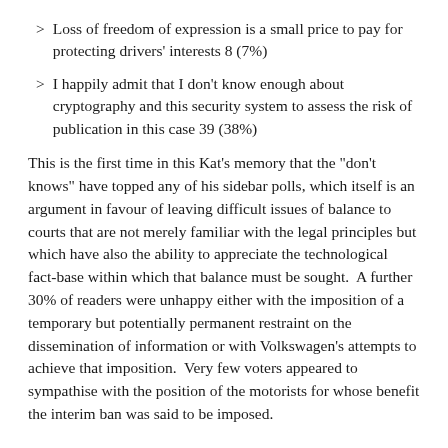> Loss of freedom of expression is a small price to pay for protecting drivers' interests 8 (7%)
> I happily admit that I don't know enough about cryptography and this security system to assess the risk of publication in this case 39 (38%)
This is the first time in this Kat's memory that the "don't knows" have topped any of his sidebar polls, which itself is an argument in favour of leaving difficult issues of balance to courts that are not merely familiar with the legal principles but which have also the ability to appreciate the technological fact-base within which that balance must be sought.  A further 30% of readers were unhappy either with the imposition of a temporary but potentially permanent restraint on the dissemination of information or with Volkswagen's attempts to achieve that imposition.  Very few voters appeared to sympathise with the position of the motorists for whose benefit the interim ban was said to be imposed.